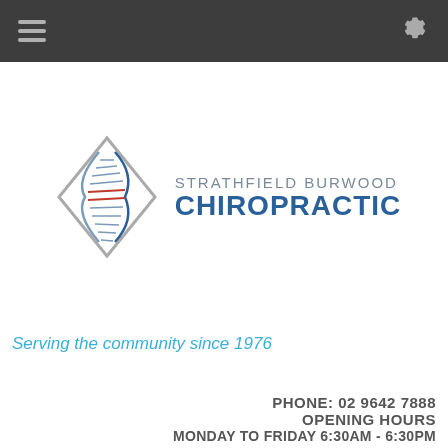[Figure (logo): Header navigation bar with hamburger menu icon on left and gear/settings icon on right, dark gray background]
[Figure (logo): Strathfield Burwood Chiropractic logo with diamond shape and stylized spine graphic, text reads STRATHFIELD BURWOOD CHIROPRACTIC]
Serving the community since 1976
PHONE: 02 9642 7888
OPENING HOURS
MONDAY TO FRIDAY 6:30AM - 6:30PM